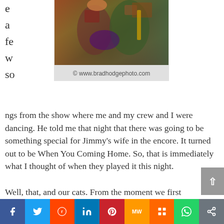e a fe w so
[Figure (photo): Photo of people with colorful clothing, appears to be at a concert or outdoor event]
© www.bradhodgephoto.com
ngs from the show where me and my crew and I were dancing.  He told me that night that there was going to be something special for Jimmy's wife in the encore.  It turned out to be When You Coming Home.  So, that is immediately what I thought of when they played it this night.
Well, that, and our cats.  From the moment we first heard this song on the CD, we thought it was the song that in the eventual Broadway Musical of Deb's and my life, would be sung by our cat Wilson when we went on tour.  It's so sweet and forlorn, and once again perfect for acoustic adaptation.